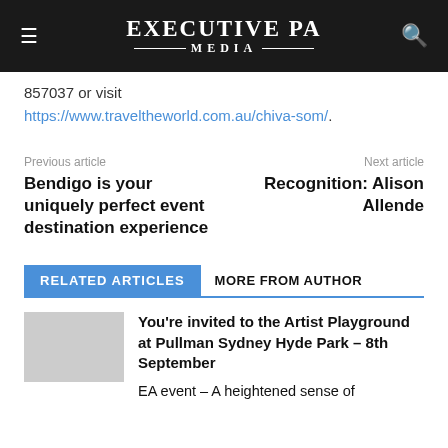EXECUTIVE PA MEDIA
857037 or visit https://www.traveltheworld.com.au/chiva-som/.
Previous article
Next article
Bendigo is your uniquely perfect event destination experience
Recognition: Alison Allende
RELATED ARTICLES
MORE FROM AUTHOR
You’re invited to the Artist Playground at Pullman Sydney Hyde Park – 8th September
EA event – A heightened sense of